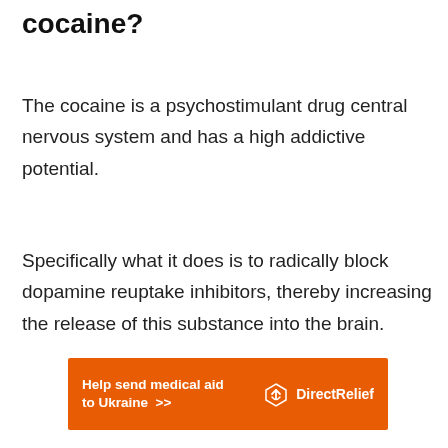cocaine?
The cocaine is a psychostimulant drug central nervous system and has a high addictive potential.
Specifically what it does is to radically block dopamine reuptake inhibitors, thereby increasing the release of this substance into the brain.
[Figure (other): Orange advertisement banner for Direct Relief: 'Help send medical aid to Ukraine >>' with Direct Relief logo on right]